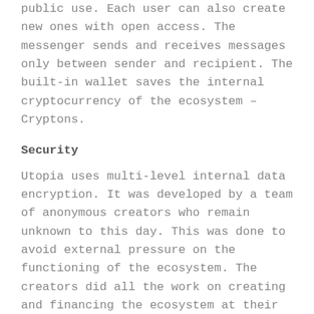public use. Each user can also create new ones with open access. The messenger sends and receives messages only between sender and recipient. The built-in wallet saves the internal cryptocurrency of the ecosystem – Cryptons.
Security
Utopia uses multi-level internal data encryption. It was developed by a team of anonymous creators who remain unknown to this day. This was done to avoid external pressure on the functioning of the ecosystem. The creators did all the work on creating and financing the ecosystem at their own expense.
From open sources, we can learn that the ecosystem uses an elliptical curve and 256bit AES to